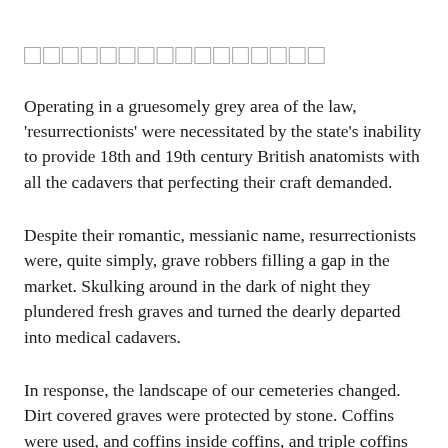□□□□□□□□□□□□□□□□
Operating in a gruesomely grey area of the law, 'resurrectionists' were necessitated by the state's inability to provide 18th and 19th century British anatomists with all the cadavers that perfecting their craft demanded.
Despite their romantic, messianic name, resurrectionists were, quite simply, grave robbers filling a gap in the market. Skulking around in the dark of night they plundered fresh graves and turned the dearly departed into medical cadavers.
In response, the landscape of our cemeteries changed. Dirt covered graves were protected by stone. Coffins were used, and coffins inside coffins, and triple coffins